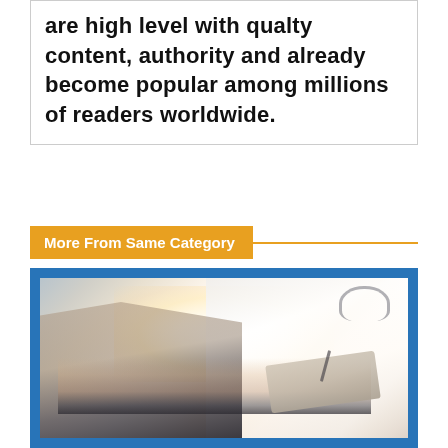are high level with qualty content, authority and already become popular among millions of readers worldwide.
More From Same Category
[Figure (photo): A doctor in a white coat holding a clipboard and pen consulting with a patient, shown from torso down with bright backlighting. The image has a warm glowing light in the center.]